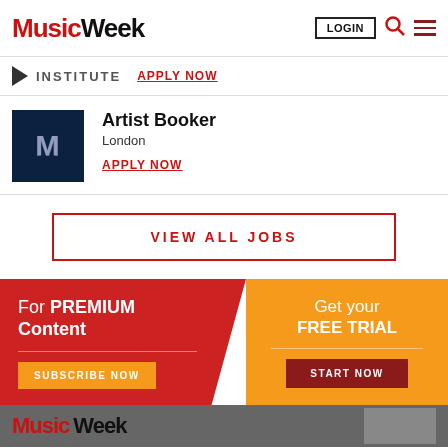Music Week — LOGIN, Search, Menu
INSTITUTE   APPLY NOW
Artist Booker
London
APPLY NOW
VIEW ALL JOBS
For PREMIUM Content
SUBSCRIBE NOW
Get your FREE TRIAL
START NOW
Music Week